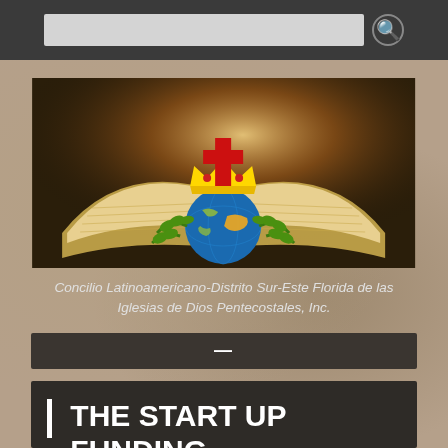[Figure (screenshot): Search bar with text input and search icon on dark grey background]
[Figure (illustration): Banner image showing an open Bible with a globe, crown, cross, and olive branches on a warm light background]
Concilio Latinoamericano-Distrito Sur-Este Florida de las Iglesias de Dios Pentecostales, Inc.
[Figure (other): Dark horizontal bar with a white dash/minus symbol centered]
THE START UP FUNDING